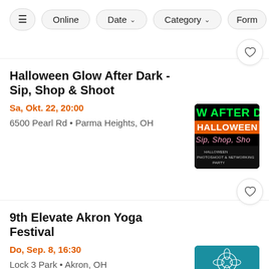Filter controls: [icon] Online | Date ▾ | Category ▾ | Form…
Halloween Glow After Dark - Sip, Shop & Shoot
Sa, Okt. 22, 20:00
6500 Pearl Rd • Parma Heights, OH
[Figure (photo): Halloween Glow After Dark event flyer with neon green and orange text on black background, reading 'W AFTER D... HALLOWEEN - Sip, Shop, Sho... HALLOWEEN PHOTOSHOOT & NETWORKING PARTY']
9th Elevate Akron Yoga Festival
Do, Sep. 8, 16:30
Lock 3 Park • Akron, OH
[Figure (photo): Elevate Akron 9th Community Yoga Festival event flyer on teal/blue background with white lotus flower logo and text 'EVATE AKRO - 9TH COMMUNITY YOGA FESTI - 2022 - AKRON, OH - LOCK 3 PARK - 4:30...']